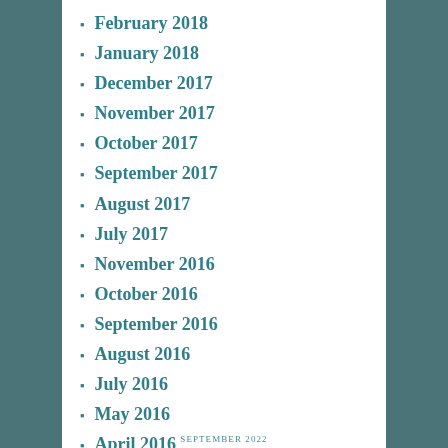February 2018
January 2018
December 2017
November 2017
October 2017
September 2017
August 2017
July 2017
November 2016
October 2016
September 2016
August 2016
July 2016
May 2016
April 2016
February 2016
January 2016
December 2015
November 2015
SEPTEMBER 2022